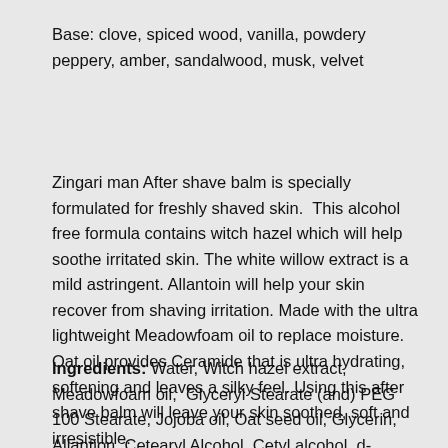Base: clove, spiced wood, vanilla, powdery peppery, amber, sandalwood, musk, velvet
Zingari man After shave balm is specially formulated for freshly shaved skin.  This alcohol free formula contains witch hazel which will help soothe irritated skin. The white willow extract is a mild astringent. Allantoin will help your skin recover from shaving irritation. Made with the ultra lightweight Meadowfoam oil to replace moisture.  Oat oil provides Ceramide that is ultra hydrating, softening and leaves a silky feel. Using this after shave balm will leave your skin soothed, soft and irresistible.
Ingredients: Water, Witch hazel extract, Meadowfoam oil, Glyceryl Stearate (and) PEG 100 Stearate, Jojoba oil, Oat seed oil, Glycerin, Allantion, Cetearyl Alcohol, Cetyl alcohol, d-panthenol, Fragrance, Propylene Glycol (and) Diazolidinyl Urea (and) Iodopropynyl Butylcarbamate, White willow extract, EDTA